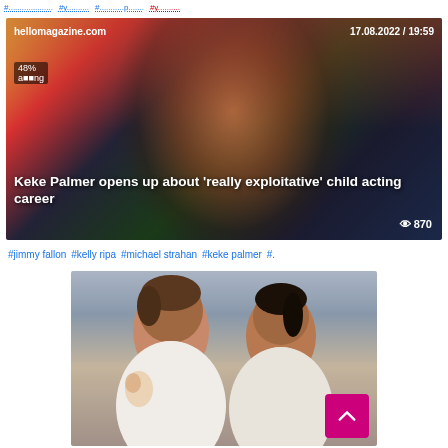#... #... #... #...
[Figure (screenshot): News article card from hellomagazine.com dated 17.08.2022 / 19:59, showing a close-up photo of Keke Palmer against a colorful background. Headline: 'Keke Palmer opens up about really exploitative child acting career'. View count: 870. Badge showing 48%.]
#jimmy fallon  #kelly ripa  #michael strahan  #keke palmer  #.
[Figure (illustration): Two CGI/illustrated women in white outfits posing side by side. Left figure has short brown hair, right figure has dark hair up. Background is gray/blurred architectural setting.]